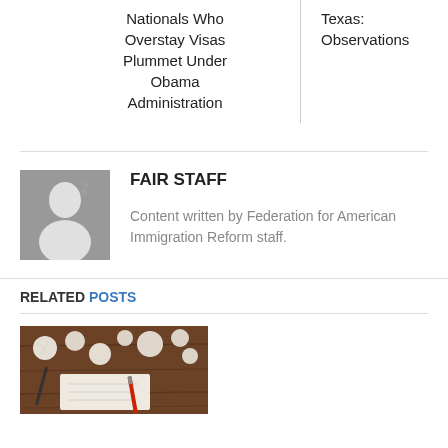Nationals Who Overstay Visas Plummet Under Obama Administration
Texas: Observations
[Figure (photo): Silhouette placeholder avatar image of a person (gray background with white outline figure)]
FAIR STAFF
Content written by Federation for American Immigration Reform staff.
RELATED POSTS
[Figure (photo): Photo of crumpled paper balls and a pen on a wooden desk]